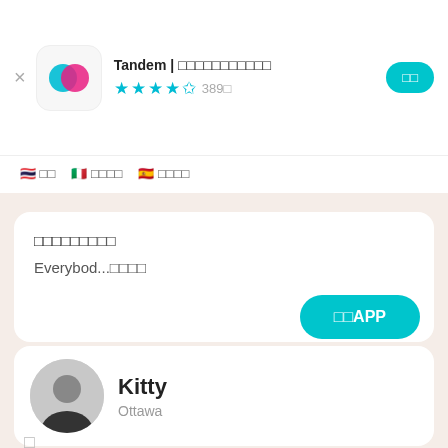Tandem | □□□□□□□□□□□  ★★★★½ 389□  □□
🇹🇭 □□  🇮🇹 □□□□  🇪🇸 □□□□
□□□□□□□□□
Everybod...□□□□
□□APP
Kitty
Ottawa
□